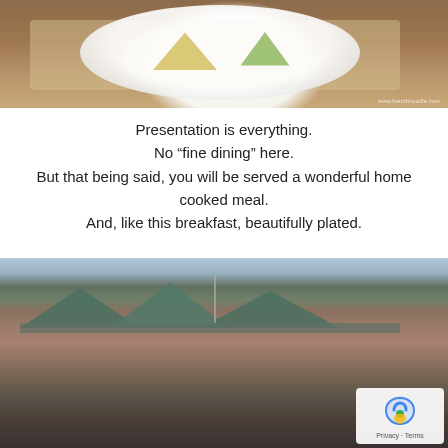[Figure (photo): Overhead view of a white plate on a wooden tray with sliced fruit — yellow mango slices and green honeydew melon wedges. A watermark reads www.bandbnoodle.com in the bottom right corner.]
Presentation is everything.
No “fine dining” here.
But that being said, you will be served a wonderful home cooked meal.
And, like this breakfast, beautifully plated.
[Figure (photo): Exterior photograph of a rustic stone building with a green metal roof, multiple gabled peaks, a flagpole, and a covered verandah in the foreground. A Google reCAPTCHA Privacy – Terms badge overlays the bottom-right corner.]